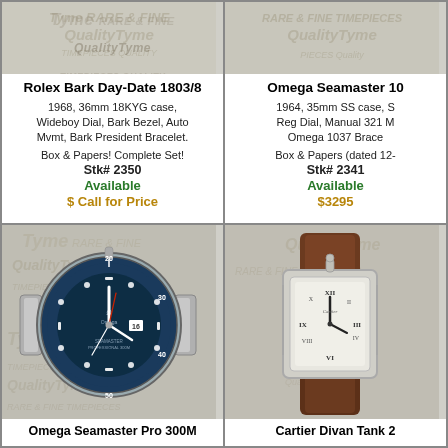[Figure (photo): Top left: photo of Rolex Bark Day-Date watch on QualityTyme branded paper background]
Rolex Bark Day-Date 1803/8
1968, 36mm 18KYG case, Wideboy Dial, Bark Bezel, Auto Mvmt, Bark President Bracelet.
Box & Papers! Complete Set!
Stk# 2350
Available
$ Call for Price
[Figure (photo): Top right: photo of Omega Seamaster watch on QualityTyme branded paper background]
Omega Seamaster 10...
1964, 35mm SS case, S... Reg Dial, Manual 321 M... Omega 1037 Brace...
Box & Papers (dated 12-...
Stk# 2341
Available
$3295
[Figure (photo): Bottom left: photo of Omega Seamaster Pro 300M dive watch with blue bezel and bracelet on QualityTyme branded paper]
Omega Seamaster Pro 300M
[Figure (photo): Bottom right: photo of Cartier Divan Tank 2... watch with rectangular case and brown leather strap on QualityTyme branded paper]
Cartier Divan Tank 2...